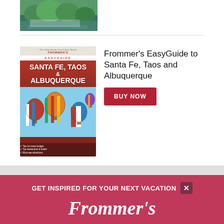[Figure (photo): Partial view of a scenic landscape photo (trees/water), cropped at top]
[Figure (illustration): Book cover: Frommer's EasyGuide to Santa Fe, Taos & Albuquerque, red cover with hot air balloons]
Frommer's EasyGuide to Santa Fe, Taos and Albuquerque
BUY NOW
View all titles»
Advertisement
GET INSPIRED FOR YOUR NEXT VACATION
Frommer's